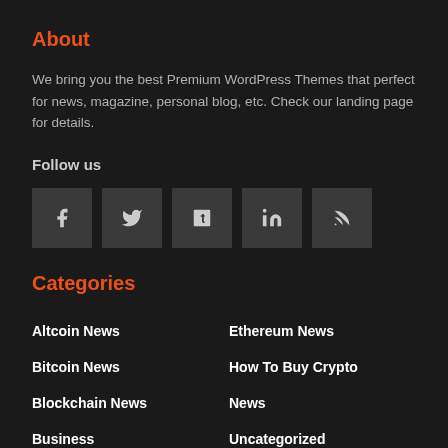About
We bring you the best Premium WordPress Themes that perfect for news, magazine, personal blog, etc. Check our landing page for details.
Follow us
[Figure (infographic): Five social media icon buttons: Facebook (f), Twitter (bird/y), Tumblr (t), LinkedIn (in), RSS feed symbol]
Categories
Altcoin News
Ethereum News
Bitcoin News
How To Buy Crypto
Blockchain News
News
Business
Uncategorized
Cryptocurrency News